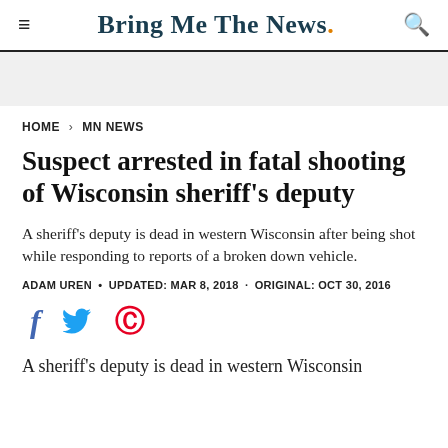Bring Me The News.
HOME > MN NEWS
Suspect arrested in fatal shooting of Wisconsin sheriff's deputy
A sheriff's deputy is dead in western Wisconsin after being shot while responding to reports of a broken down vehicle.
ADAM UREN • UPDATED: MAR 8, 2018 · ORIGINAL: OCT 30, 2016
[Figure (other): Social sharing icons: Facebook, Twitter, Pinterest]
A sheriff's deputy is dead in western Wisconsin